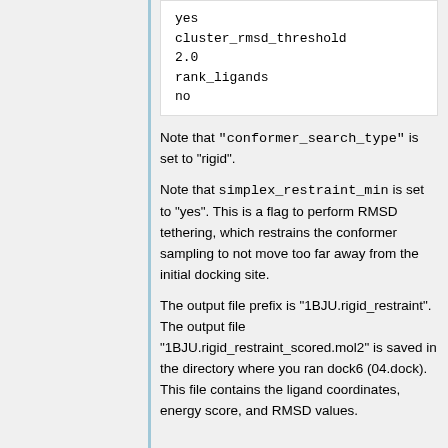yes
cluster_rmsd_threshold
2.0
rank_ligands
no
Note that "conformer_search_type" is set to "rigid".
Note that simplex_restraint_min is set to "yes". This is a flag to perform RMSD tethering, which restrains the conformer sampling to not move too far away from the initial docking site.
The output file prefix is "1BJU.rigid_restraint". The output file "1BJU.rigid_restraint_scored.mol2" is saved in the directory where you ran dock6 (04.dock). This file contains the ligand coordinates, energy score, and RMSD values.